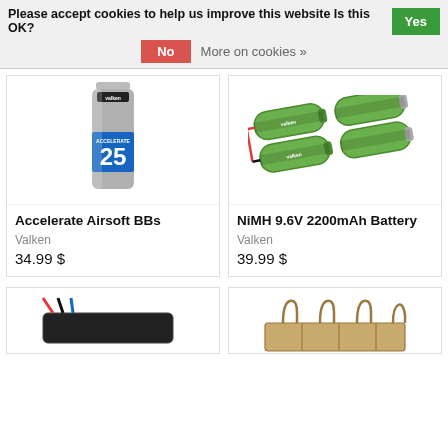Please accept cookies to help us improve this website Is this OK? Yes No More on cookies »
[Figure (photo): Valken Accelerate Airsoft BBs product bottle with silver BBs and blue label showing number 25]
Accelerate Airsoft BBs
Valken
34.99 $
[Figure (photo): NiMH 9.6V 2200mAh rechargeable battery pack in green, split style with red connector wire]
NiMH 9.6V 2200mAh Battery
Valken
39.99 $
[Figure (photo): Partial view of a black battery or electronic device at bottom left]
[Figure (photo): Partial view of a tan/coyote brown tactical magazine pouch at bottom right]